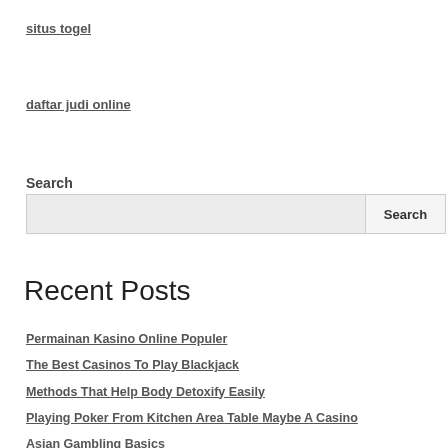situs togel
daftar judi online
Search
[Search input box and Search button]
Recent Posts
Permainan Kasino Online Populer
The Best Casinos To Play Blackjack
Methods That Help Body Detoxify Easily
Playing Poker From Kitchen Area Table Maybe A Casino
Asian Gambling Basics